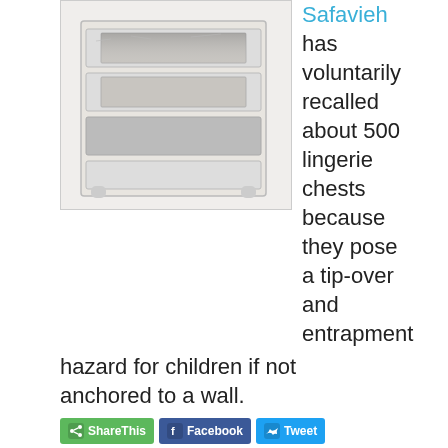[Figure (photo): Distressed white wood lingerie chest with open drawers]
Safavieh has voluntarily recalled about 500 lingerie chests because they pose a tip-over and entrapment hazard for children if not anchored to a wall.
ShareThis
Facebook
Tweet
LinkedIn
Pinterest
Email
Hall of Fame Hires First Full-Time Staffers
March 21, 2017 by Larry Thomas in Business Strategy, Furniture, Industry
[Figure (photo): Close-up photo of a person with brown hair]
The American Home Furnishings